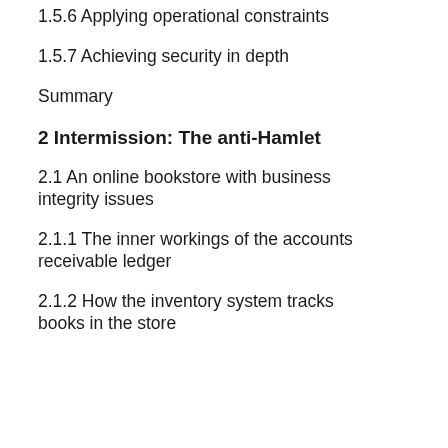1.5.6 Applying operational constraints
1.5.7 Achieving security in depth
Summary
2 Intermission: The anti-Hamlet
2.1 An online bookstore with business integrity issues
2.1.1 The inner workings of the accounts receivable ledger
2.1.2 How the inventory system tracks books in the store